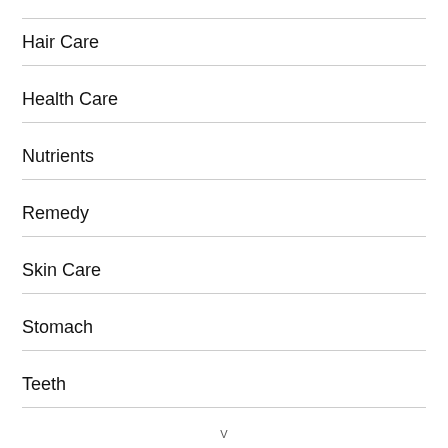Hair Care
Health Care
Nutrients
Remedy
Skin Care
Stomach
Teeth
V